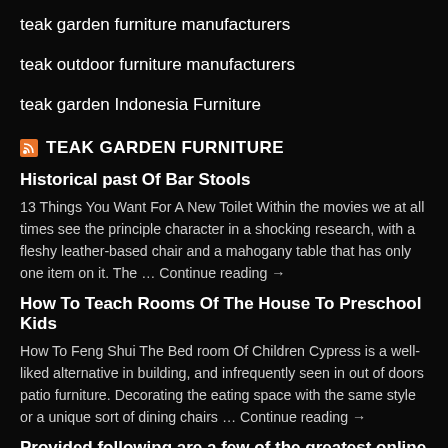teak garden furniture manufacturers
teak outdoor furniture manufacturers
teak garden Indonesia Furniture
TEAK GARDEN FURNITURE
Historical past Of Bar Stools
13 Things You Want For A New Toilet Within the movies we at all times see the principle character in a shocking research, with a fleshy leather-based chair and a mahogany table that has only one item on it. The … Continue reading →
How To Teach Rooms Of The House To Preschool Kids
How To Feng Shui The Bed room Of Children Cypress is a well-liked alternative in building, and infrequently seen in out of doors patio furniture. Decorating the eating space with the same style or a unique sort of dining chairs … Continue reading →
Provided following are a few of the greatest online careers for